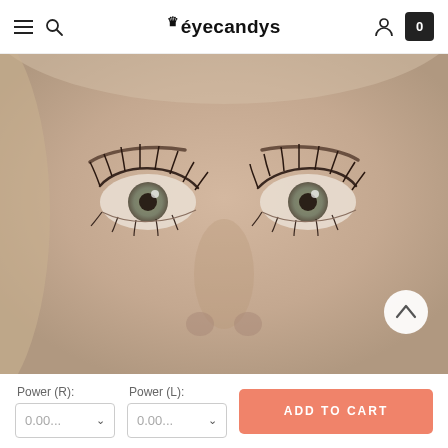eyecandys
[Figure (photo): Close-up photo of a woman's face showing both eyes with colored contact lenses, heavy mascara, in a sepia/warm tone filter]
Power (R):
0.00...
Power (L):
0.00...
ADD TO CART